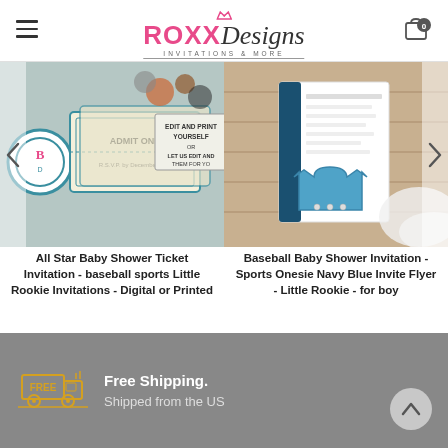ROXX Designs - Invitations & More
[Figure (photo): All Star Baby Shower Ticket Invitation product photo showing baseball themed ticket invitations with teal and beige colors, Admit One text visible]
[Figure (photo): Baseball Baby Shower Invitation product photo showing sports onesie navy blue invite on wood background with fur]
All Star Baby Shower Ticket Invitation - baseball sports Little Rookie Invitations - Digital or Printed
$15.00
Baseball Baby Shower Invitation - Sports Onesie Navy Blue Invite Flyer - Little Rookie - for boy
$15.00
Free Shipping. Shipped from the US